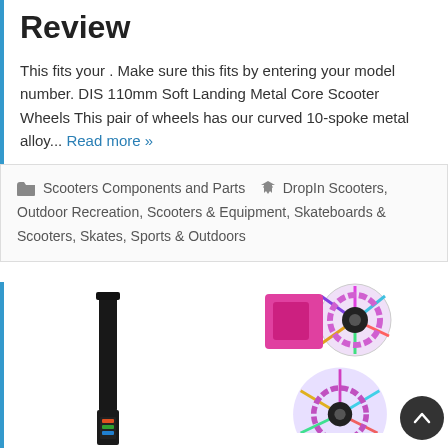Review
This fits your . Make sure this fits by entering your model number. DIS 110mm Soft Landing Metal Core Scooter Wheels This pair of wheels has our curved 10-spoke metal alloy... Read more »
Scooters Components and Parts   DropIn Scooters, Outdoor Recreation, Scooters & Equipment, Skateboards & Scooters, Skates, Sports & Outdoors
[Figure (photo): Product image showing a black scooter bar/post on the left and colorful LED scooter wheels (pink/rainbow) on the right]